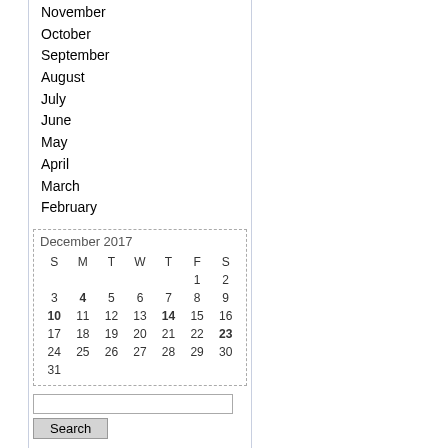November
October
September
August
July
June
May
April
March
February
| S | M | T | W | T | F | S |
| --- | --- | --- | --- | --- | --- | --- |
|  |  |  |  | 1 | 2 |  |
| 3 | 4 | 5 | 6 | 7 | 8 | 9 |
| 10 | 11 | 12 | 13 | 14 | 15 | 16 |
| 17 | 18 | 19 | 20 | 21 | 22 | 23 |
| 24 | 25 | 26 | 27 | 28 | 29 | 30 |
| 31 |  |  |  |  |  |  |
Search
Syndication
[Figure (logo): RSS 2.0 badge — orange RSS label and gray 2.0 text]